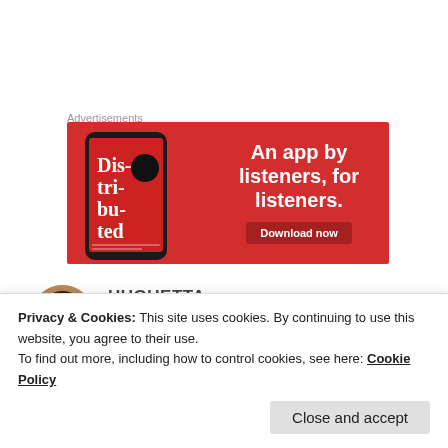Advertisements
[Figure (illustration): Red advertisement banner for a podcast app featuring a phone with 'Dis-tri-bu-ted' text on its screen. Text reads 'An app by listeners, for listeners.' with a 'Download now' button.]
HUGUETTA
19 Mar 2019 at 5:09 pm
Privacy & Cookies: This site uses cookies. By continuing to use this website, you agree to their use.
To find out more, including how to control cookies, see here: Cookie Policy
Close and accept
caught it  I write from all my heart 😊